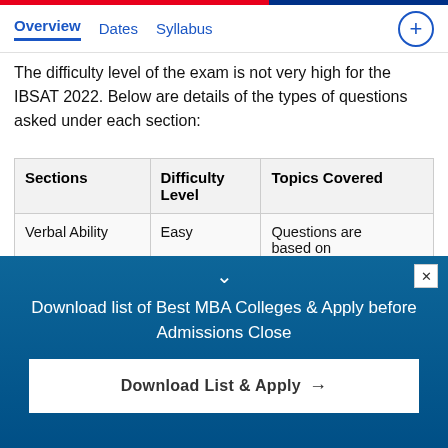Overview  Dates  Syllabus  +
The difficulty level of the exam is not very high for the IBSAT 2022. Below are details of the types of questions asked under each section:
| Sections | Difficulty Level | Topics Covered |
| --- | --- | --- |
| Verbal Ability | Easy | Questions are based on vocabulary and |
Download list of Best MBA Colleges & Apply before Admissions Close
Download List & Apply →